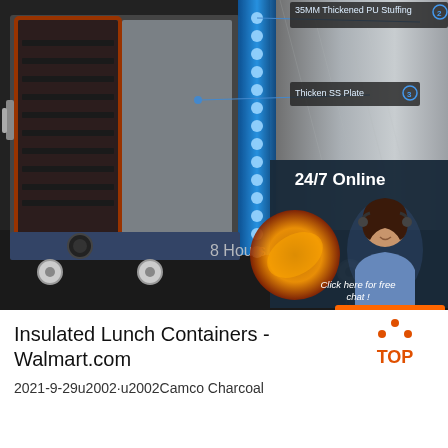[Figure (photo): Product infographic showing an insulated food warmer/trolley with stainless steel construction. Labels indicate '35MM Thickened PU Stuffing (2)' and 'Thicken SS Plate (3)' with a blue LED strip. An overlay shows a customer service representative with '24/7 Online', 'Click here for free chat!', and an orange 'QUOTATION' button. Bottom text reads '8 Hours W...' and 'T IN...' watermark.]
Insulated Lunch Containers - Walmart.com
2021-9-29u2002·u2002Camco Charcoal